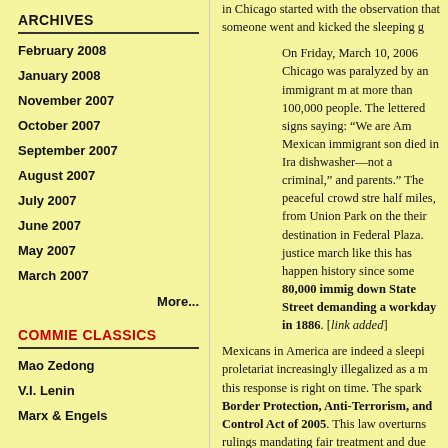ARCHIVES
February 2008
January 2008
November 2007
October 2007
September 2007
August 2007
July 2007
June 2007
May 2007
March 2007
More...
COMMIE CLASSICS
Mao Zedong
V.I. Lenin
Marx & Engels
in Chicago started with the observation that someone went and kicked the sleeping g
On Friday, March 10, 2006 Chicago was paralyzed by an immigrant march at more than 100,000 people. The lettered signs saying: “We are Am Mexican immigrant son died in Ira dishwasher—not a criminal,” and parents.” The peaceful crowd stre half miles, from Union Park on the their destination in Federal Plaza. justice march like this has happen history since some 80,000 immigrants marched down State Street demanding a shorter workday in 1886. [link added]
Mexicans in America are indeed a sleeping proletariat increasingly illegalized as a m this response is right on time. The spark Border Protection, Anti-Terrorism, and Control Act of 2005. This law overturns rulings mandating fair treatment and due held indefinitely by the Dept. of Homeland